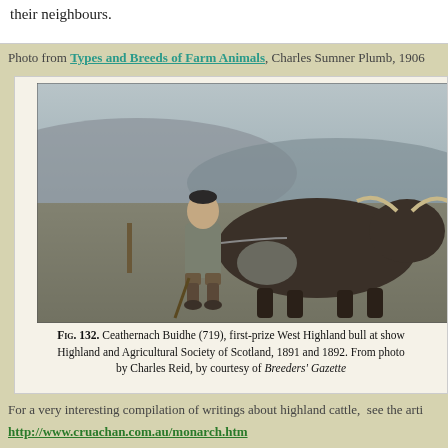their neighbours.
Photo from Types and Breeds of Farm Animals, Charles Sumner Plumb, 1906
[Figure (photo): Black and white photograph of a man in traditional Scottish Highland dress holding a lead rope attached to a large bull (Ceathernach Buidhe, 719), standing in an open field with hills in the background.]
FIG. 132. Ceathernach Buidhe (719), first-prize West Highland bull at show Highland and Agricultural Society of Scotland, 1891 and 1892. From photo by Charles Reid, by courtesy of Breeders' Gazette
For a very interesting compilation of writings about highland cattle,  see the arti
http://www.cruachan.com.au/monarch.htm